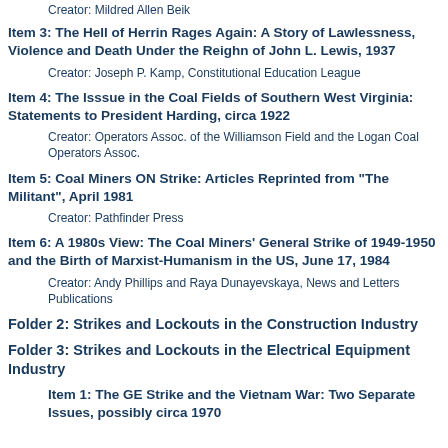Item 3: The Hell of Herrin Rages Again: A Story of Lawlessness, Violence and Death Under the Reighn of John L. Lewis, 1937
Creator: Mildred Allen Beik
Creator: Joseph P. Kamp, Constitutional Education League
Item 4: The Isssue in the Coal Fields of Southern West Virginia: Statements to President Harding, circa 1922
Creator: Operators Assoc. of the Williamson Field and the Logan Coal Operators Assoc.
Item 5: Coal Miners ON Strike: Articles Reprinted from "The Militant", April 1981
Creator: Pathfinder Press
Item 6: A 1980s View: The Coal Miners' General Strike of 1949-1950 and the Birth of Marxist-Humanism in the US, June 17, 1984
Creator: Andy Phillips and Raya Dunayevskaya, News and Letters Publications
Folder 2: Strikes and Lockouts in the Construction Industry
Folder 3: Strikes and Lockouts in the Electrical Equipment Industry
Item 1: The GE Strike and the Vietnam War: Two Separate Issues, possibly circa 1970